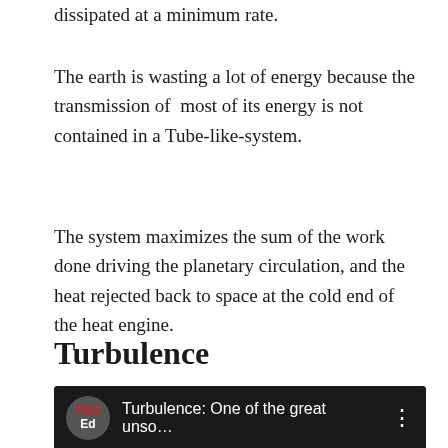dissipated at a minimum rate.
The earth is wasting a lot of energy because the transmission of  most of its energy is not contained in a Tube-like-system.
The system maximizes the sum of the work done driving the planetary circulation, and the heat rejected back to space at the cold end of the heat engine.
Turbulence
[Figure (screenshot): YouTube-style embedded video thumbnail from TED-Ed showing 'Turbulence: One of the great unso...' with text 'WHAT CAUSES TURBULENCE' on a dark background]